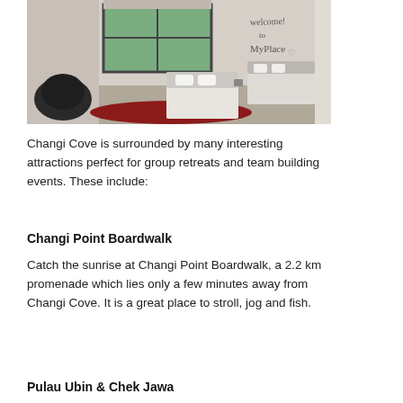[Figure (photo): Interior photo of a bedroom with two single beds with white linens, a dark beanbag chair on the left, a red rug on the floor, a window with trees visible outside, and 'welcome to MyPlace' handwritten on the right wall.]
Changi Cove is surrounded by many interesting attractions perfect for group retreats and team building events. These include:
Changi Point Boardwalk
Catch the sunrise at Changi Point Boardwalk, a 2.2 km promenade which lies only a few minutes away from Changi Cove. It is a great place to stroll, jog and fish.
Pulau Ubin & Chek Jawa